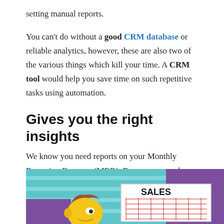setting manual reports.
You can't do without a good CRM database or reliable analytics, however, these are also two of the various things which kill your time. A CRM tool would help you save time on such repetitive tasks using automation.
Gives you the right insights
We know you need reports on your Monthly Recurring Revenue (MRR), Bounce rate, and so many other things. You would also like to keep a track of how each individual has been doing with regard to goal success.
[Figure (illustration): A Simpsons-style cartoon meme showing a character (Futurama-style) looking at a sales chart labeled SALES with a grid.]